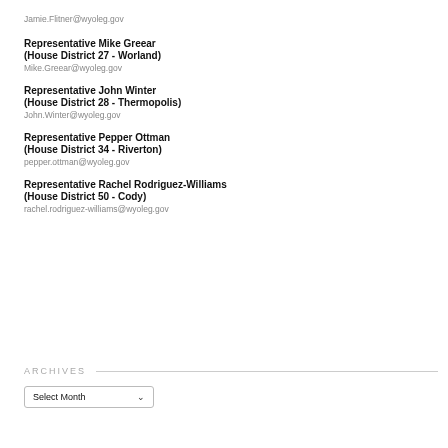Jamie.Flitner@wyoleg.gov
Representative Mike Greear
(House District 27 - Worland)
Mike.Greear@wyoleg.gov
Representative John Winter
(House District 28 - Thermopolis)
John.Winter@wyoleg.gov
Representative Pepper Ottman
(House District 34 - Riverton)
pepper.ottman@wyoleg.gov
Representative Rachel Rodriguez-Williams
(House District 50 - Cody)
rachel.rodriguez-williams@wyoleg.gov
ARCHIVES
Select Month